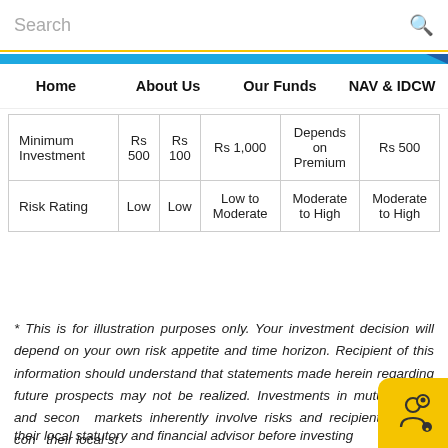Search
Home   About Us   Our Funds   NAV & IDCW
|  |  |  |  |  |  |
| --- | --- | --- | --- | --- | --- |
| Minimum Investment | Rs 500 | Rs 100 | Rs 1,000 | Depends on Premium | Rs 500 |
| Risk Rating | Low | Low | Low to Moderate | Moderate to High | Moderate to High |
* This is for illustration purposes only. Your investment decision will depend on your own risk appetite and time horizon. Recipient of this information should understand that statements made herein regarding future prospects may not be realized. Investments in mutual funds and second markets inherently involve risks and recipients should cons their local statutory and financial advisor before investing